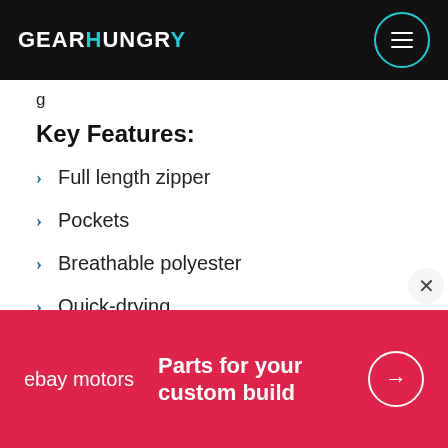GEARHUNGRY
g
Key Features:
Full length zipper
Pockets
Breathable polyester
Quick-drying
Lightweight and soft
Elastic hem
[Figure (other): eBay Motors advertisement banner: 'Parts for your custom build' with arrow button]